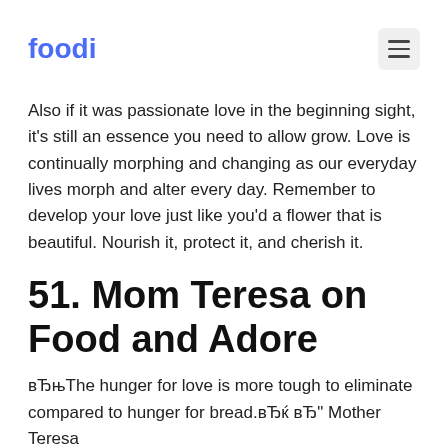foodi
Also if it was passionate love in the beginning sight, it's still an essence you need to allow grow. Love is continually morphing and changing as our everyday lives morph and alter every day. Remember to develop your love just like you'd a flower that is beautiful. Nourish it, protect it, and cherish it.
51. Mom Teresa on Food and Adore
вЂњThe hunger for love is more tough to eliminate compared to hunger for bread.вЂќ вЂ" Mother Teresa